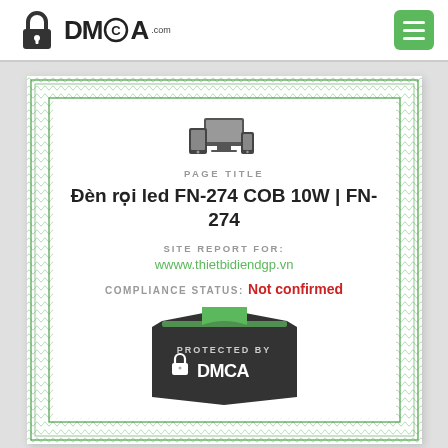[Figure (logo): DMCA.com logo with padlock icon]
[Figure (infographic): DMCA site report certificate with PAGE TITLE, site URL, compliance status and DMCA protected badge]
PAGE TITLE
Đèn rọi led FN-274 COB 10W | FN-274
SITE REPORT FOR: wwww.thietbidiendgp.vn
COMPLIANCE STATUS: Not confirmed